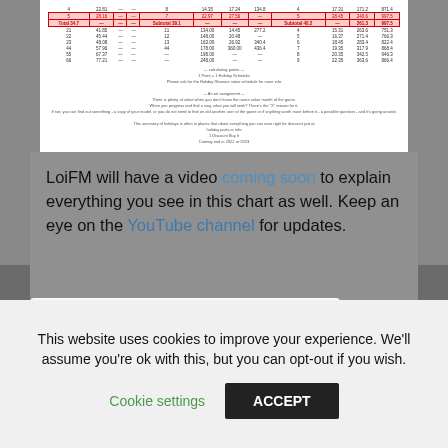[Figure (screenshot): Screenshot of a document page showing a data table with multiple columns and rows. One row is highlighted in red/pink. Below the table are footer notes and a section labeled 'An art assignment' with several lines of text.]
LoiFM will have a video coming soon to explain everything you see in this chart as well. Keep an eye on the YouTube channel for updates.
‹ Star Wars Figures Inducted into Toy Hall of Fame
This website uses cookies to improve your experience. We'll assume you're ok with this, but you can opt-out if you wish.
Cookie settings
ACCEPT